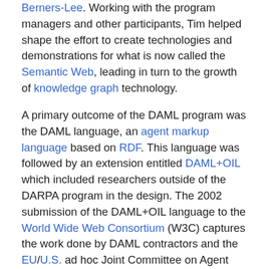Berners-Lee. Working with the program managers and other participants, Tim helped shape the effort to create technologies and demonstrations for what is now called the Semantic Web, leading in turn to the growth of knowledge graph technology.
A primary outcome of the DAML program was the DAML language, an agent markup language based on RDF. This language was followed by an extension entitled DAML+OIL which included researchers outside of the DARPA program in the design. The 2002 submission of the DAML+OIL language to the World Wide Web Consortium (W3C) captures the work done by DAML contractors and the EU/U.S. ad hoc Joint Committee on Agent Markup Languages. This submission was the starting point for the language (later called OWL) to be developed by W3C's web ontology working group, WebOnt.